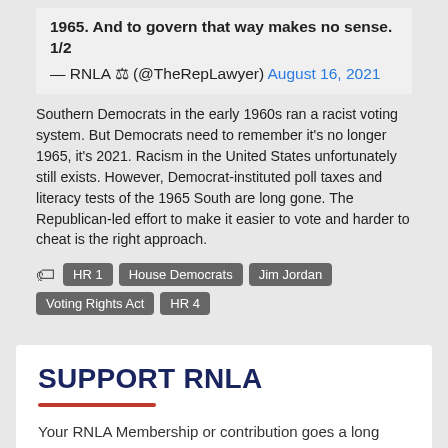1965. And to govern that way makes no sense. 1/2
— RNLA ⚖ (@TheRepLawyer) August 16, 2021
Southern Democrats in the early 1960s ran a racist voting system. But Democrats need to remember it's no longer 1965, it's 2021. Racism in the United States unfortunately still exists. However, Democrat-instituted poll taxes and literacy tests of the 1965 South are long gone. The Republican-led effort to make it easier to vote and harder to cheat is the right approach.
Tags: HR 1 | House Democrats | Jim Jordan | Voting Rights Act | HR 4
SUPPORT RNLA
Your RNLA Membership or contribution goes a long way in advancing the RNLA's Mission.